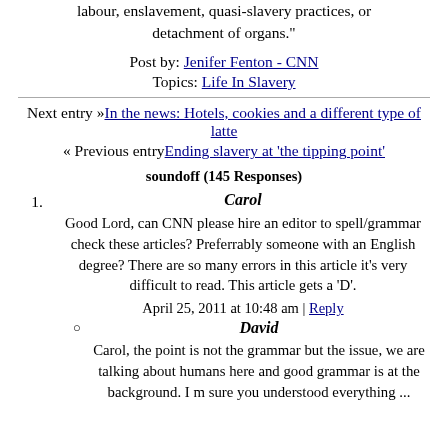labour, enslavement, quasi-slavery practices, or detachment of organs."
Post by: Jenifer Fenton - CNN
Topics: Life In Slavery
Next entry »In the news: Hotels, cookies and a different type of latte
« Previous entryEnding slavery at 'the tipping point'
soundoff (145 Responses)
1. Carol — Good Lord, can CNN please hire an editor to spell/grammar check these articles? Preferrably someone with an English degree? There are so many errors in this article it's very difficult to read. This article gets a 'D'. — April 25, 2011 at 10:48 am | Reply
David — Carol, the point is not the grammar but the issue, we are talking about humans here and good grammar is at the background. I m sure you understood everything ...